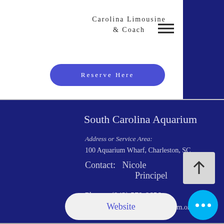Carolina Limousine & Coach
Reserve Here
South Carolina Aquarium
Address or Service Area:
100 Aquarium Wharf, Charleston, SC
Contact:   Nicole Principel
Phone:  (843) 579-8656
Email:   membership@scaquarium.org
Website